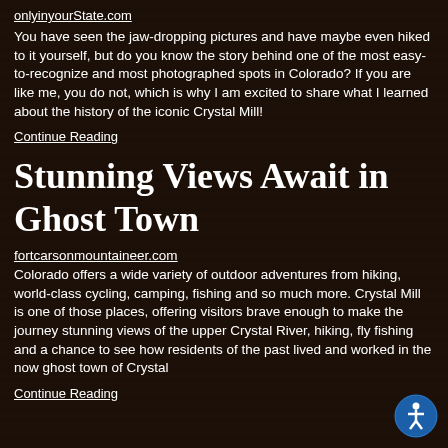onlyinyourstate.com
You have seen the jaw-dropping pictures and have maybe even hiked to it yourself, but do you know the story behind one of the most easy-to-recognize and most photographed spots in Colorado? If you are like me, you do not, which is why I am excited to share what I learned about the history of the iconic Crystal Mill!
Continue Reading
Stunning Views Await in Ghost Town
fortcarsonmountaineer.com
Colorado offers a wide variety of outdoor adventures from hiking, world-class cycling, camping, fishing and so much more. Crystal Mill is one of those places, offering visitors brave enough to make the journey stunning views of the upper Crystal River, hiking, fly fishing and a chance to see how residents of the past lived and worked in the now ghost town of Crystal
Continue Reading